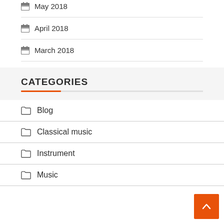May 2018
April 2018
March 2018
CATEGORIES
Blog
Classical music
Instrument
Music